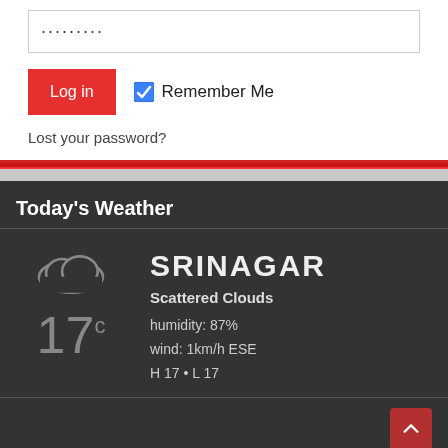········· (password field)
Log in
Remember Me
Lost your password?
Today's Weather
[Figure (infographic): Weather widget showing cloud icon, temperature 17°C, city SRINAGAR, Scattered Clouds, humidity: 87%, wind: 1km/h ESE, H 17 • L 17]
Contact